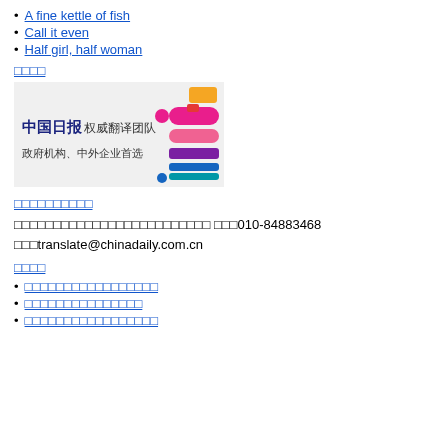A fine kettle of fish
Call it even
Half girl, half woman
□□□□
[Figure (logo): China Daily translation team advertisement banner with Chinese text 中国日报权威翻译团队 政府机构、中外企业首选]
□□□□□□□□□□
□□□□□□□□□□□□□□□□□□□□□□□□□ □□□010-84883468 □□□translate@chinadaily.com.cn
□□□□
□□□□□□□□□□□□□□□□□
□□□□□□□□□□□□□□□
□□□□□□□□□□□□□□□□□